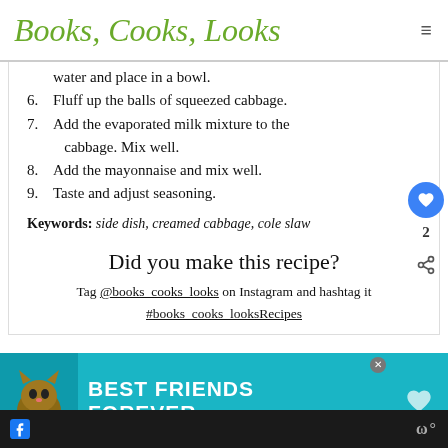Books, Cooks, Looks
water and place in a bowl.
6. Fluff up the balls of squeezed cabbage.
7. Add the evaporated milk mixture to the cabbage. Mix well.
8. Add the mayonnaise and mix well.
9. Taste and adjust seasoning.
Keywords: side dish, creamed cabbage, cole slaw
Did you make this recipe?
Tag @books_cooks_looks on Instagram and hashtag it #books_cooks_looksRecipes
[Figure (photo): Advertisement banner with cat and 'Best Friends Forever' text on teal background]